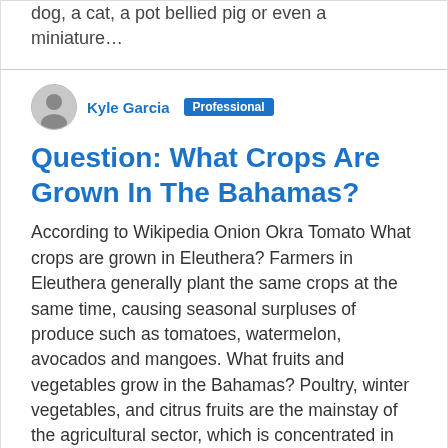dog, a cat, a pot bellied pig or even a miniature…
Kyle Garcia  Professional
Question: What Crops Are Grown In The Bahamas?
According to Wikipedia Onion Okra Tomato What crops are grown in Eleuthera? Farmers in Eleuthera generally plant the same crops at the same time, causing seasonal surpluses of produce such as tomatoes, watermelon, avocados and mangoes. What fruits and vegetables grow in the Bahamas? Poultry, winter vegetables, and citrus fruits are the mainstay of the agricultural sector, which is concentrated in The Abacos. Exports consist mainly of grapefruits, limes, okra, papaya, pineapples,